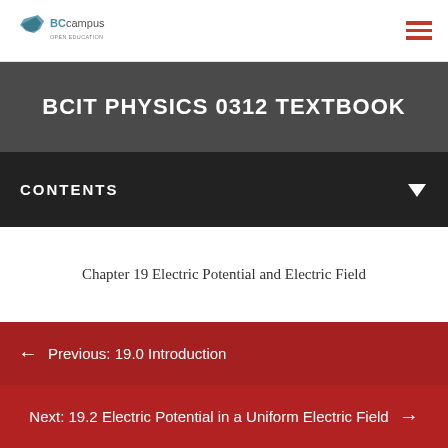BCcampus
BCIT PHYSICS 0312 TEXTBOOK
CONTENTS
Chapter 19 Electric Potential and Electric Field
Previous: 19.0 Introduction
Next: 19.2 Electric Potential in a Uniform Electric Field